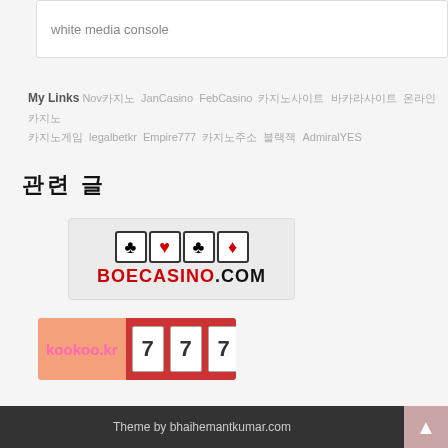[Figure (screenshot): Text input box with placeholder text 'white media console']
My Links  Nov카지노  JanCasino  FebCasino  카지노사이트  바카라사이트  온라인카지노  카지노게임  legalbetkr  Empire777  카지노주소  블랙잭  AdmiralYES
관련 글
[Figure (logo): BOECASINO.COM logo with four card suit symbols (club, heart, club, diamond) in boxes above the text]
[Figure (logo): kookoo.kr 777 casino logo - pink text on orange background with 7 7 7 digits on red background]
Theme by bhaihemantkumar.com